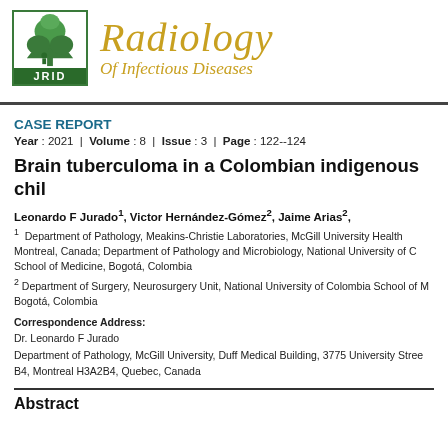[Figure (logo): JRID journal logo with green tree and JRID text in green box]
Radiology Of Infectious Diseases
CASE REPORT
Year : 2021 | Volume : 8 | Issue : 3 | Page : 122--124
Brain tuberculoma in a Colombian indigenous chil
Leonardo F Jurado1, Victor Hernández-Gómez2, Jaime Arias2,
1 Department of Pathology, Meakins-Christie Laboratories, McGill University Health Montreal, Canada; Department of Pathology and Microbiology, National University of C School of Medicine, Bogotá, Colombia
2 Department of Surgery, Neurosurgery Unit, National University of Colombia School of M Bogotá, Colombia
Correspondence Address:
Dr. Leonardo F Jurado
Department of Pathology, McGill University, Duff Medical Building, 3775 University Stree B4, Montreal H3A2B4, Quebec, Canada
Abstract